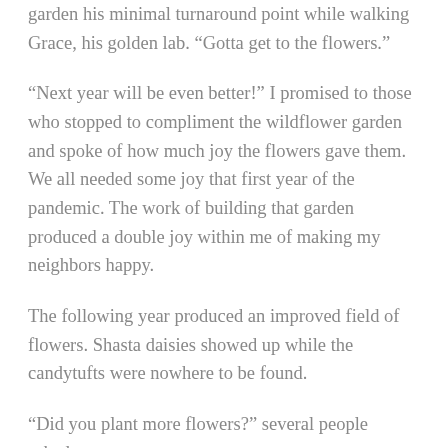garden his minimal turnaround point while walking Grace, his golden lab. “Gotta get to the flowers.”
“Next year will be even better!” I promised to those who stopped to compliment the wildflower garden and spoke of how much joy the flowers gave them. We all needed some joy that first year of the pandemic. The work of building that garden produced a double joy within me of making my neighbors happy.
The following year produced an improved field of flowers. Shasta daisies showed up while the candytufts were nowhere to be found.
“Did you plant more flowers?” several people asked.
“Nope, they just reseeded themselves,” I said, a short answer for the truth. Some perennial wildflower seeds take two-to-three years to germinate and flower. The same holds true for writers and their